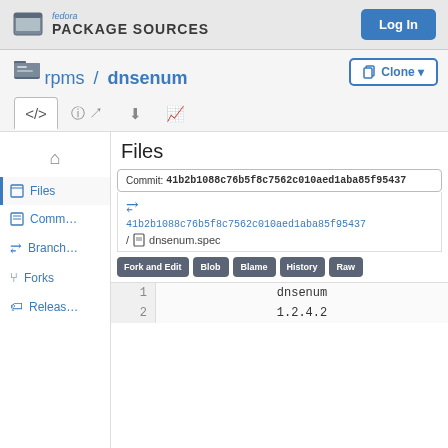fedora PACKAGE SOURCES
rpms / dnsenum
Commit: 41b2b1088c76b5f8c7562c010aed1aba85f95437
41b2b1088c76b5f8c7562c010aed1aba85f95437 / dnsenum.spec
Files
Commits
Branches
Forks
Releases
| line | content |
| --- | --- |
| 1 | dnsenum |
| 2 | 1.2.4.2 |